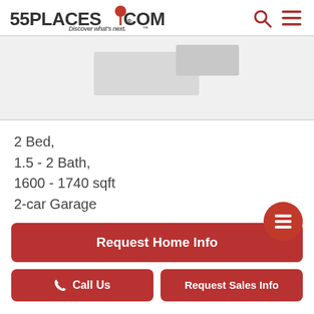55PLACES.COM - Discover what's next.
[Figure (photo): Property image placeholder showing a gray box]
2 Bed,
1.5 - 2 Bath,
1600 - 1740 sqft
2-car Garage
Request Home Info
Call Us
Request Sales Info